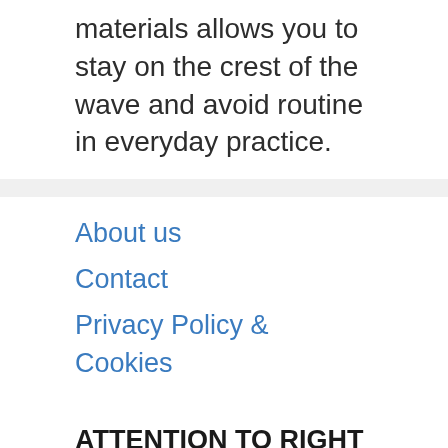materials allows you to stay on the crest of the wave and avoid routine in everyday practice.
About us
Contact
Privacy Policy & Cookies
ATTENTION TO RIGHT HOLDERS! All materials are posted on the site strictly for informational and educational purposes! If you believe that the posting of any material infringes your copyright, be sure to contact us through the contact form and your material will be removed!